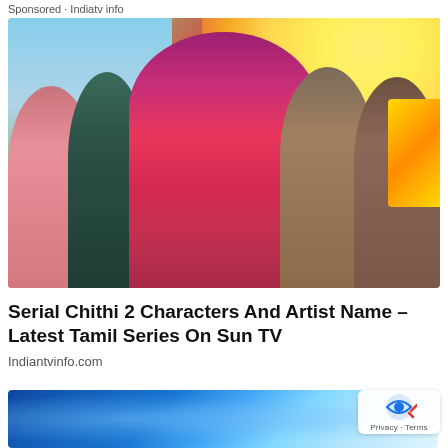Sponsored · Indiatv info
[Figure (photo): Promotional image for Tamil TV serial Chithi 2 on Sun TV showing cast members including a woman in red/pink saree with gold jewelry in center, two women on left, two men on right, with a temple and bright sky in background. Gold decorative text/logo visible on right edge.]
Serial Chithi 2 Characters And Artist Name - Latest Tamil Series On Sun TV
Indiantvinfo.com
[Figure (photo): Partial view of a blue-toned science/DNA imagery with bokeh light effects, partially cropped at bottom of page.]